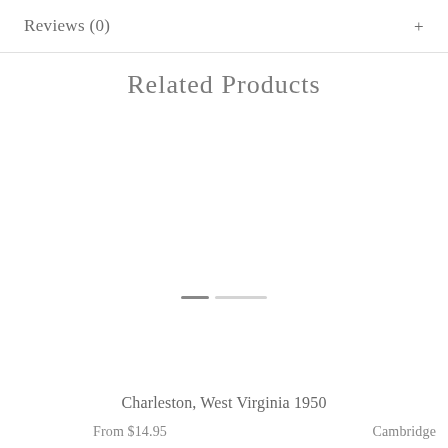Reviews (0)
Related Products
[Figure (other): Carousel navigation dots: one active (dark short bar) and one inactive (light longer bar)]
Charleston, West Virginia 1950
From $14.95
Cambridge